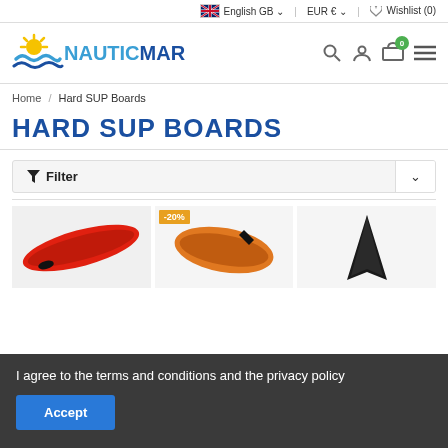English GB | EUR € | Wishlist (0)
[Figure (logo): Nauticmar logo with sun and waves icon, text NAUTICMAR in blue]
Home / Hard SUP Boards
HARD SUP BOARDS
Filter
[Figure (photo): Three hard SUP boards shown partially: a red board on the left, an orange board in the center with -20% discount badge, and a dark board on the right]
I agree to the terms and conditions and the privacy policy
Accept